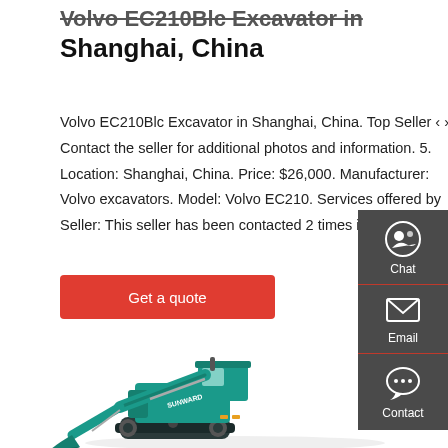Volvo EC210Blc Excavator in Shanghai, China
Volvo EC210Blc Excavator in Shanghai, China. Top Seller ‹ › Contact the seller for additional photos and information. 5. Location: Shanghai, China. Price: $26,000. Manufacturer: Volvo excavators. Model: Volvo EC210. Services offered by Seller: This seller has been contacted 2 times in …
Get a quote
[Figure (photo): Teal/green Sunward excavator photographed from the side on a white background, showing the full machine including tracks, boom, arm, and bucket.]